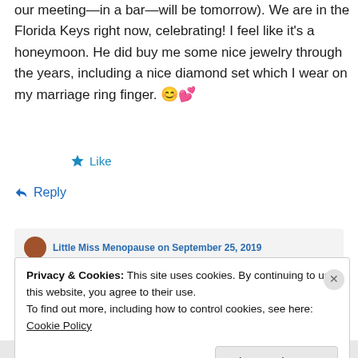our meeting—in a bar—will be tomorrow). We are in the Florida Keys right now, celebrating! I feel like it's a honeymoon. He did buy me some nice jewelry through the years, including a nice diamond set which I wear on my marriage ring finger. 😊💕
★ Like
↪ Reply
Little Miss Menopause on September 25, 2019
Privacy & Cookies: This site uses cookies. By continuing to use this website, you agree to their use.
To find out more, including how to control cookies, see here: Cookie Policy
Close and accept